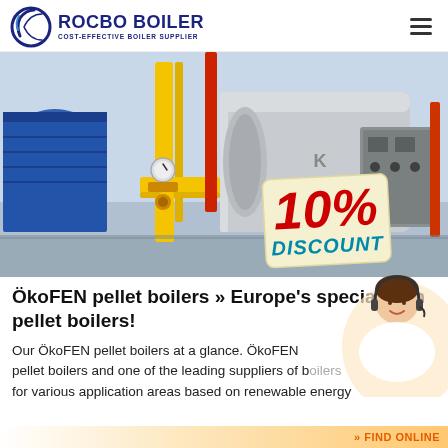ROCBO BOILER — COST-EFFECTIVE BOILER SUPPLIER
[Figure (photo): Industrial boiler room showing a large cylindrical steel boiler with blue ducting and yellow gas pipes, with a 10% DISCOUNT badge overlaid in the bottom-right corner]
ÖkoFEN pellet boilers » Europe's specialist in pellet boilers!
Our ÖkoFEN pellet boilers at a glance. ÖkoFEN pellet boilers and one of the leading suppliers of boilers for various application areas based on renewable energy